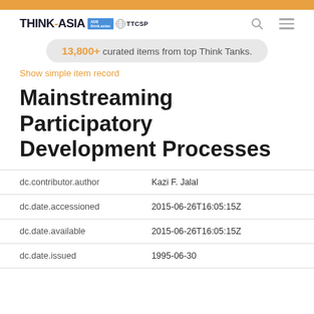THINK-ASIA | TTCSP
13,800+ curated items from top Think Tanks.
Show simple item record
Mainstreaming Participatory Development Processes
| Field | Value |
| --- | --- |
| dc.contributor.author | Kazi F. Jalal |
| dc.date.accessioned | 2015-06-26T16:05:15Z |
| dc.date.available | 2015-06-26T16:05:15Z |
| dc.date.issued | 1995-06-30 |